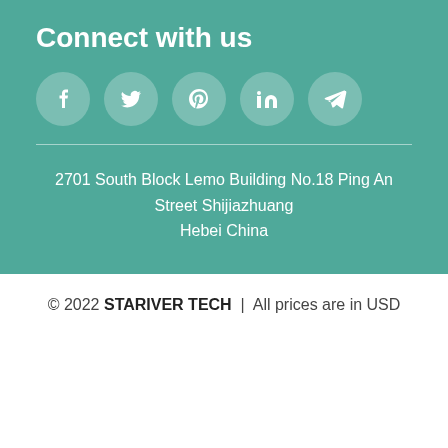Connect with us
[Figure (infographic): Five social media icon circles: Facebook, Twitter, Pinterest, LinkedIn, Telegram]
2701 South Block Lemo Building No.18 Ping An Street Shijiazhuang Hebei China
© 2022 STARIVER TECH | All prices are in USD